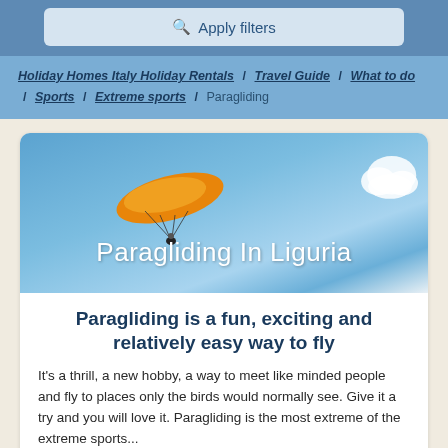Apply filters
Holiday Homes Italy Holiday Rentals / Travel Guide / What to do / Sports / Extreme sports / Paragliding
[Figure (photo): Paragliding In Liguria banner image: orange paraglider in blue sky with white cloud, italic script title text 'Paragliding In Liguria']
Paragliding is a fun, exciting and relatively easy way to fly
It's a thrill, a new hobby, a way to meet like minded people and fly to places only the birds would normally see. Give it a try and you will love it. Paragliding is the most extreme of the extreme sports...